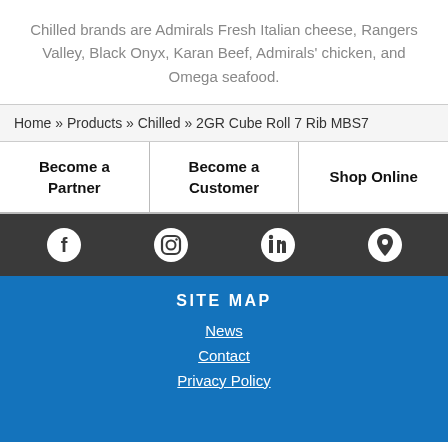Chilled brands are Admirals Fresh Italian cheese, Rangers Valley, Black Onyx, Karan Beef, Admirals' chicken, and Omega seafood.
Home » Products » Chilled » 2GR Cube Roll 7 Rib MBS7
| Become a Partner | Become a Customer | Shop Online |
[Figure (infographic): Social media icons bar: Facebook, Instagram, LinkedIn, and location pin icons on a dark grey background]
SITE MAP
News
Contact
Privacy Policy